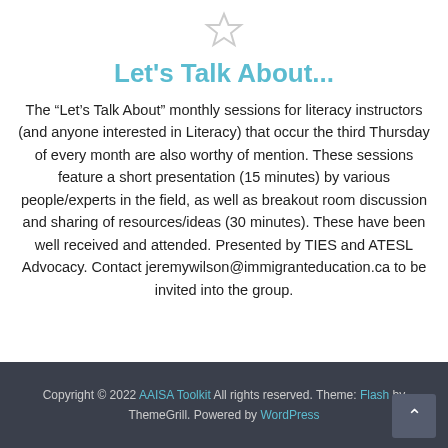[Figure (illustration): Star outline icon at the top of the page]
Let's Talk About...
The “Let’s Talk About” monthly sessions for literacy instructors (and anyone interested in Literacy) that occur the third Thursday of every month are also worthy of mention. These sessions feature a short presentation (15 minutes) by various people/experts in the field, as well as breakout room discussion and sharing of resources/ideas (30 minutes). These have been well received and attended. Presented by TIES and ATESL Advocacy. Contact jeremywilson@immigranteducation.ca to be invited into the group.
Copyright © 2022 AAISA Toolkit All rights reserved. Theme: Flash by ThemeGrill. Powered by WordPress